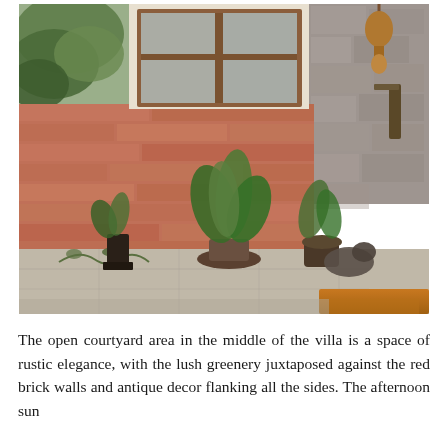[Figure (photo): Photo of an open courtyard area of a villa showing red brick walls, a wooden-framed window, lush green potted plants, stone/concrete flooring with creeping plants, antique decorative items including a dark metal lamp stand and a copper hanging ornament on the right wall, and a wooden surface in the foreground.]
The open courtyard area in the middle of the villa is a space of rustic elegance, with the lush greenery juxtaposed against the red brick walls and antique decor flanking all the sides. The afternoon sun